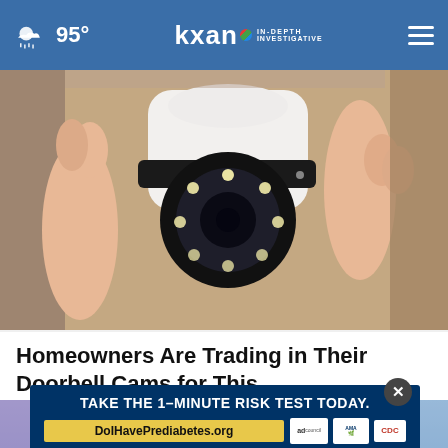95° kxan IN-DEPTH INVESTIGATIVE
[Figure (photo): A hand holding a small white dome-shaped surveillance camera with a black lens ring and LED lights around the lens]
Homeowners Are Trading in Their Doorbell Cams for This.
Keilini.com
[Figure (photo): Partial view of a person's face/head from above, with a pop-up advertisement overlay]
TAKE THE 1-MINUTE RISK TEST TODAY.
DoIHavePrediabetes.org